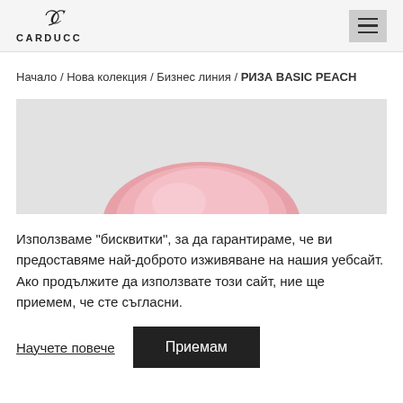[Figure (logo): Carducci brand logo with stylized C and CARDUCCI text]
Начало / Нова колекция / Бизнес линия / РИЗА BASIC PEACH
[Figure (photo): Product image showing a pink peach colored shirt, cropped at collar/shoulder area against light gray background]
Използваме "бисквитки", за да гарантираме, че ви предоставяме най-доброто изживяване на нашия уебсайт. Ако продължите да използвате този сайт, ние ще приемем, че сте съгласни.
Научете повече
Приемам